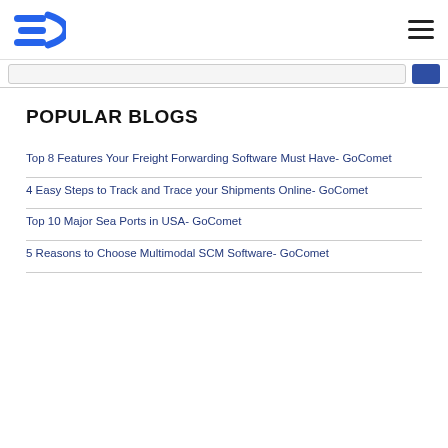GoComet logo and hamburger menu
POPULAR BLOGS
Top 8 Features Your Freight Forwarding Software Must Have- GoComet
4 Easy Steps to Track and Trace your Shipments Online- GoComet
Top 10 Major Sea Ports in USA- GoComet
5 Reasons to Choose Multimodal SCM Software- GoComet